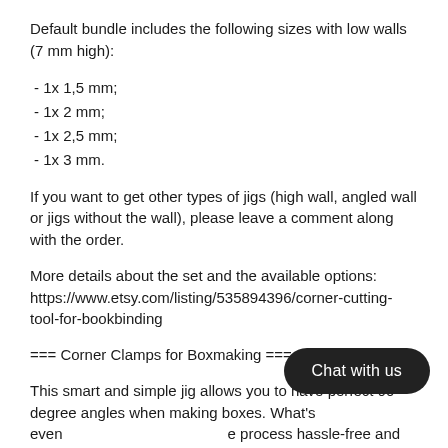Default bundle includes the following sizes with low walls (7 mm high):
- 1x 1,5 mm;
- 1x 2 mm;
- 1x 2,5 mm;
- 1x 3 mm.
If you want to get other types of jigs (high wall, angled wall or jigs without the wall), please leave a comment along with the order.
More details about the set and the available options: https://www.etsy.com/listing/535894396/corner-cutting-tool-for-bookbinding
=== Corner Clamps for Boxmaking ===
This smart and simple jig allows you to have perfect 90-degree angles when making boxes. What's even  e process hassle-free and saves time!
The set includes four jigs, so you will be able to clamp all four of the corners simultaneously. Corner clamps are different...